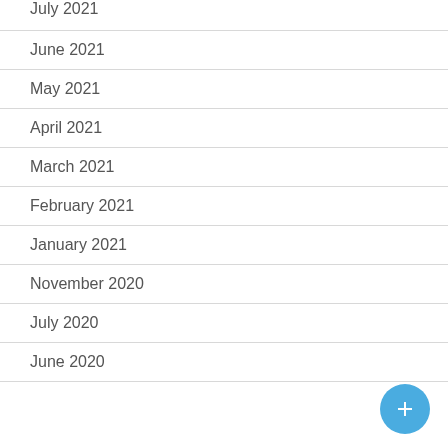July 2021
June 2021
May 2021
April 2021
March 2021
February 2021
January 2021
November 2020
July 2020
June 2020